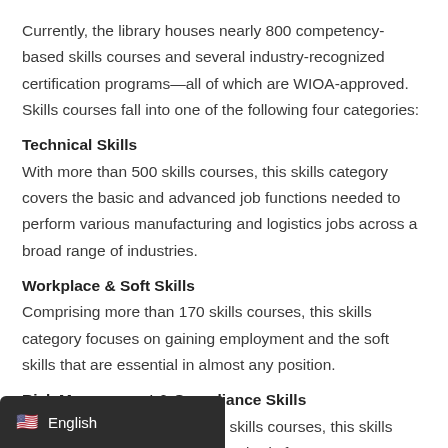Currently, the library houses nearly 800 competency-based skills courses and several industry-recognized certification programs—all of which are WIOA-approved. Skills courses fall into one of the following four categories:
Technical Skills
With more than 500 skills courses, this skills category covers the basic and advanced job functions needed to perform various manufacturing and logistics jobs across a broad range of industries.
Workplace & Soft Skills
Comprising more than 170 skills courses, this skills category focuses on gaining employment and the soft skills that are essential in almost any position.
Risk Management & Compliance Skills
more than 40 skills courses, this skills
s with industry-related standards for